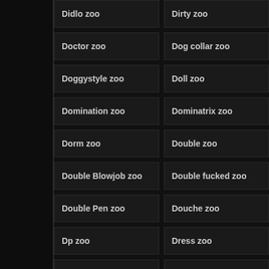Didlo zoo
Dirty zoo
Doctor zoo
Dog collar zoo
Doggystyle zoo
Doll zoo
Domination zoo
Dominatrix zoo
Dorm zoo
Double zoo
Double Blowjob zoo
Double fucked zoo
Double Pen zoo
Douche zoo
Dp zoo
Dress zoo
Drilled zoo
Drink zoo
Drinking zoo
Drooling zoo